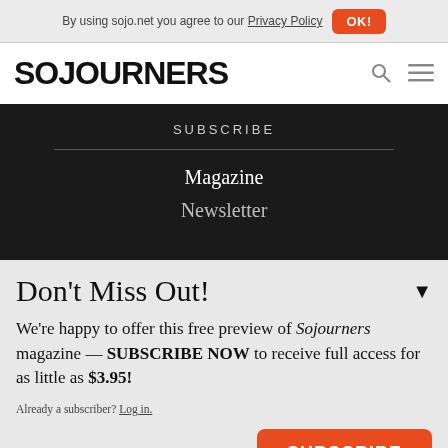By using sojo.net you agree to our Privacy Policy  OK!
SOJOURNERS
SUBSCRIBE
Magazine
Newsletter
Don't Miss Out!
We're happy to offer this free preview of Sojourners magazine — SUBSCRIBE NOW to receive full access for as little as $3.95!
Already a subscriber? Log in.
SUBSCRIBE